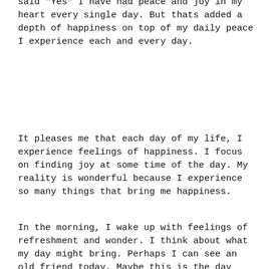said "Yes" I have had peace and joy in my heart every single day. But thats added a depth of happiness on top of my daily peace I experience each and every day.
It pleases me that each day of my life, I experience feelings of happiness. I focus on finding joy at some time of the day. My reality is wonderful because I experience so many things that bring me happiness.
In the morning, I wake up with feelings of refreshment and wonder. I think about what my day might bring. Perhaps I can see an old friend today. Maybe this is the day that the love of my life surprises me with something special. As the sun rises, my joy is just beginning.
Most days when I head to visit a client I will take the coast road to see the ocean, the continuous waves